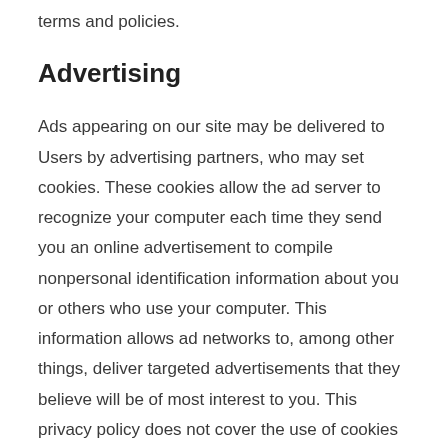terms and policies.
Advertising
Ads appearing on our site may be delivered to Users by advertising partners, who may set cookies. These cookies allow the ad server to recognize your computer each time they send you an online advertisement to compile nonpersonal identification information about you or others who use your computer. This information allows ad networks to, among other things, deliver targeted advertisements that they believe will be of most interest to you. This privacy policy does not cover the use of cookies by any advertisers.